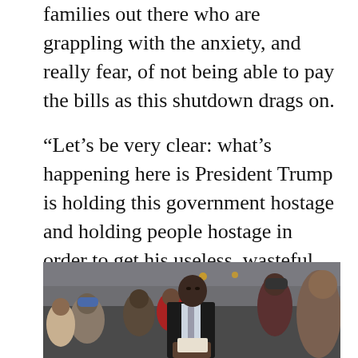families out there who are grappling with the anxiety, and really fear, of not being able to pay the bills as this shutdown drags on.
“Let’s be very clear: what’s happening here is President Trump is holding this government hostage and holding people hostage in order to get his useless, wasteful wall,” Lee said.
[Figure (photo): A crowd of people standing in line on a city street. In the foreground is a young Black man wearing a black puffer vest over a light blue dress shirt, holding papers. Behind him is a diverse crowd of people, some in winter clothing.]